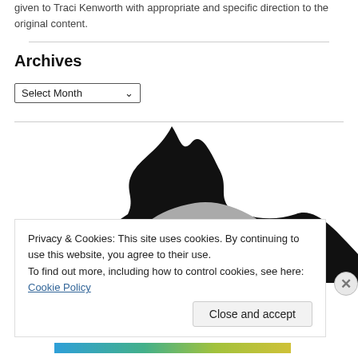given to Traci Kenworth with appropriate and specific direction to the original content.
Archives
Select Month
[Figure (illustration): Partial illustration of a large rounded shape, gray with black outlines suggesting a stylized animal or mountain form, visible from roughly the middle upward. A white arc/line runs across the gray area.]
Privacy & Cookies: This site uses cookies. By continuing to use this website, you agree to their use.
To find out more, including how to control cookies, see here: Cookie Policy
Close and accept